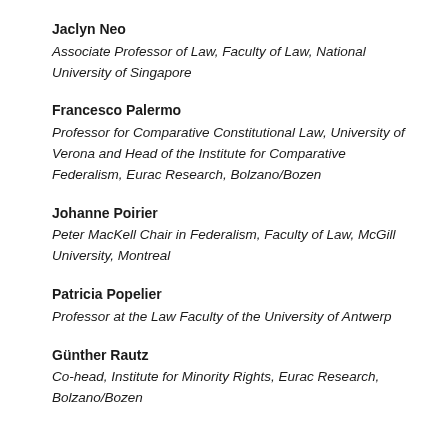Jaclyn Neo
Associate Professor of Law, Faculty of Law, National University of Singapore
Francesco Palermo
Professor for Comparative Constitutional Law, University of Verona and Head of the Institute for Comparative Federalism, Eurac Research, Bolzano/Bozen
Johanne Poirier
Peter MacKell Chair in Federalism, Faculty of Law, McGill University, Montreal
Patricia Popelier
Professor at the Law Faculty of the University of Antwerp
Günther Rautz
Co-head, Institute for Minority Rights, Eurac Research, Bolzano/Bozen